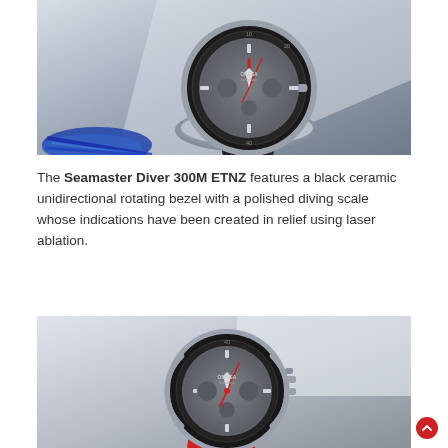[Figure (photo): Close-up photo of an Omega Seamaster Diver 300M ETNZ watch with grey dial, red hands, black ceramic bezel, and dark rubber strap, resting on a chrome fitting with blue rope in the background]
The Seamaster Diver 300M ETNZ features a black ceramic unidirectional rotating bezel with a polished diving scale whose indications have been created in relief using laser ablation.
[Figure (photo): Photo of an Omega Seamaster Diver 300M ETNZ watch with grey dial, red accents, black ceramic bezel, red and grey rubber strap, shown at an angle against a white background]